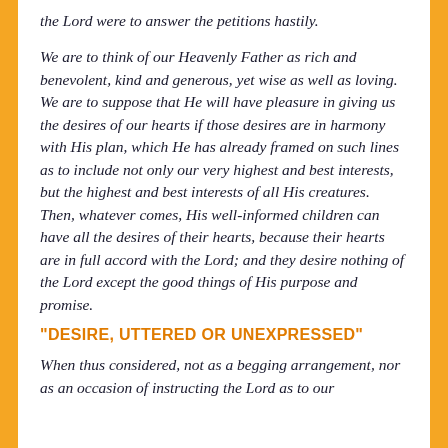the Lord were to answer the petitions hastily.
We are to think of our Heavenly Father as rich and benevolent, kind and generous, yet wise as well as loving. We are to suppose that He will have pleasure in giving us the desires of our hearts if those desires are in harmony with His plan, which He has already framed on such lines as to include not only our very highest and best interests, but the highest and best interests of all His creatures. Then, whatever comes, His well-informed children can have all the desires of their hearts, because their hearts are in full accord with the Lord; and they desire nothing of the Lord except the good things of His purpose and promise.
“DESIRE, UTTERED OR UNEXPRESSED”
When thus considered, not as a begging arrangement, nor as an occasion of instructing the Lord as to our